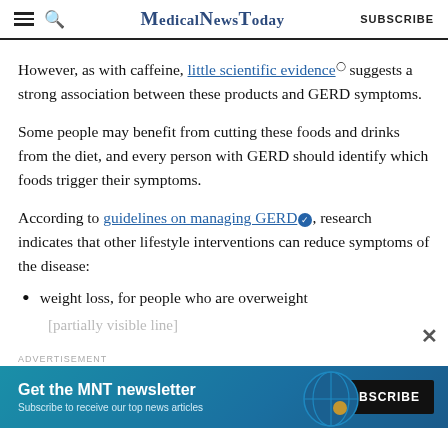MedicalNewsToday SUBSCRIBE
However, as with caffeine, little scientific evidence suggests a strong association between these products and GERD symptoms.
Some people may benefit from cutting these foods and drinks from the diet, and every person with GERD should identify which foods trigger their symptoms.
According to guidelines on managing GERD, research indicates that other lifestyle interventions can reduce symptoms of the disease:
weight loss, for people who are overweight
[partially visible next list item]
[Figure (screenshot): Advertisement banner for MNT newsletter with Subscribe button and globe graphic]